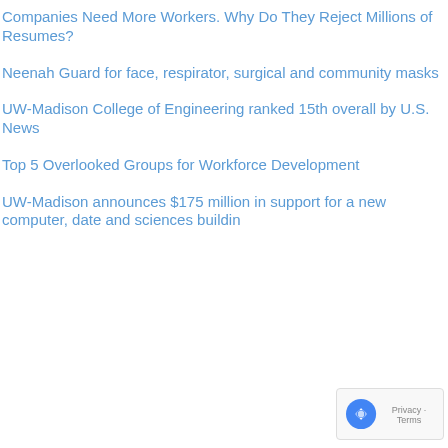Companies Need More Workers. Why Do They Reject Millions of Resumes?
Neenah Guard for face, respirator, surgical and community masks
UW-Madison College of Engineering ranked 15th overall by U.S. News
Top 5 Overlooked Groups for Workforce Development
UW-Madison announces $175 million in support for a new computer, date and sciences building